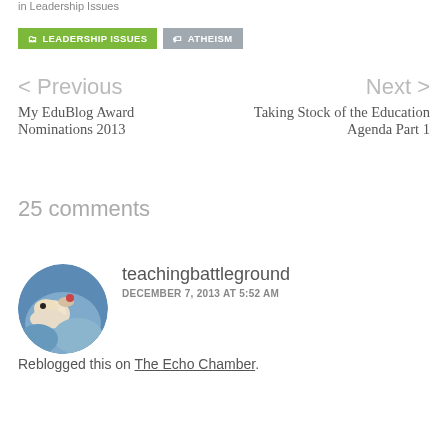in Leadership Issues
LEADERSHIP ISSUES
ATHEISM
< Previous
My EduBlog Award Nominations 2013
Next >
Taking Stock of the Education Agenda Part 1
25 comments
teachingbattleground
DECEMBER 7, 2013 AT 5:52 AM
Reblogged this on The Echo Chamber.